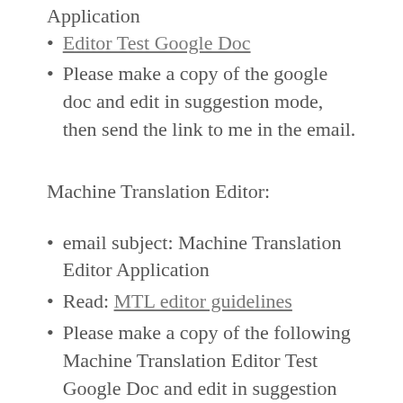Application
Editor Test Google Doc
Please make a copy of the google doc and edit in suggestion mode, then send the link to me in the email.
Machine Translation Editor:
email subject: Machine Translation Editor Application
Read: MTL editor guidelines
Please make a copy of the following Machine Translation Editor Test Google Doc and edit in suggestion mode, then send the link to me in the